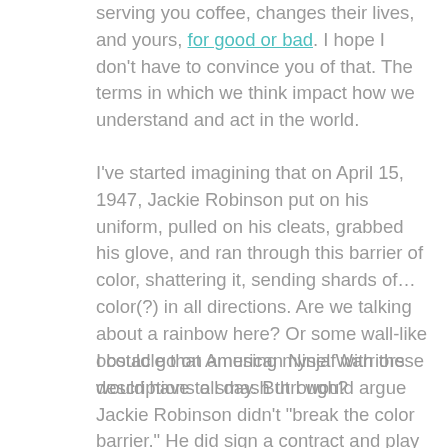serving you coffee, changes their lives, and yours, for good or bad. I hope I don't have to convince you of that. The terms in which we think impact how we understand and act in the world.
I've started imagining that on April 15, 1947, Jackie Robinson put on his uniform, pulled on his cleats, grabbed his glove, and ran through this barrier of color, shattering it, sending shards of…color(?) in all directions. Are we talking about a rainbow here? Or some wall-like obstacle that American Ninja Warriors would have to smash through?
I could go on amusing myself with these descriptions all day. But I would argue Jackie Robinson didn't "break the color barrier." He did sign a contract and play professional